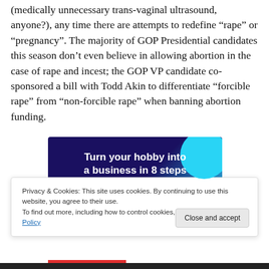(medically unnecessary trans-vaginal ultrasound, anyone?), any time there are attempts to redefine “rape” or “pregnancy”. The majority of GOP Presidential candidates this season don’t even believe in allowing abortion in the case of rape and incest; the GOP VP candidate co-sponsored a bill with Todd Akin to differentiate “forcible rape” from “non-forcible rape” when banning abortion funding.
[Figure (other): Advertisement banner: 'Turn your hobby into a business in 8 steps' on dark blue/purple background with light blue circle accent]
Privacy & Cookies: This site uses cookies. By continuing to use this website, you agree to their use.
To find out more, including how to control cookies, see here: Cookie Policy